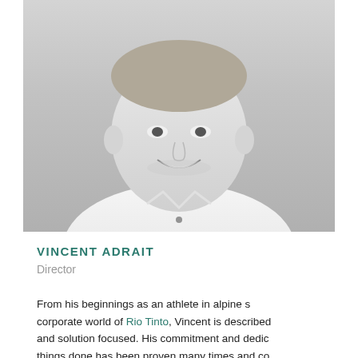[Figure (photo): Black and white headshot photo of a smiling man in a white collared shirt, cropped from shoulders up]
VINCENT ADRAIT
Director
From his beginnings as an athlete in alpine s... corporate world of Rio Tinto, Vincent is described... and solution focused. His commitment and dedi... things done has been proven many times and co...